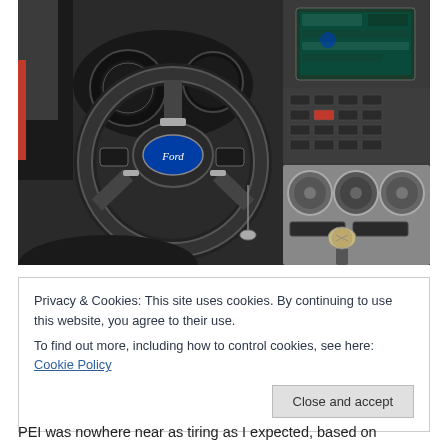[Figure (photo): Interior of a Ford Fiesta showing the steering wheel with Ford logo, dashboard, center console with gear shift, infotainment screen, and climate controls]
Privacy & Cookies: This site uses cookies. By continuing to use this website, you agree to their use.
To find out more, including how to control cookies, see here: Cookie Policy
Close and accept
PEI was nowhere near as tiring as I expected, based on